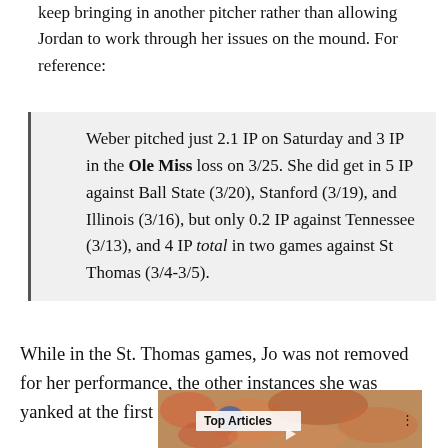keep bringing in another pitcher rather than allowing Jordan to work through her issues on the mound. For reference:
Weber pitched just 2.1 IP on Saturday and 3 IP in the Ole Miss loss on 3/25. She did get in 5 IP against Ball State (3/20), Stanford (3/19), and Illinois (3/16), but only 0.2 IP against Tennessee (3/13), and 4 IP total in two games against St Thomas (3/4-3/5).
While in the St. Thomas games, Jo was not removed for her performance, the other instances she was yanked at the first signs of trouble.
[Figure (photo): Sports crowd photo with a 'Top Articles' label overlay and a play button, with a three-dot menu icon in the corner.]